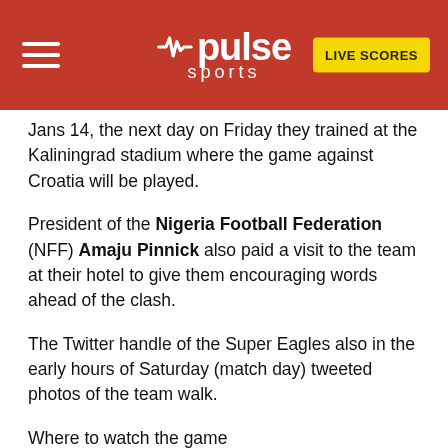Pulse Sports — LIVE SCORES
Jans 14, the next day on Friday they trained at the Kaliningrad stadium where the game against Croatia will be played.
President of the Nigeria Football Federation (NFF) Amaju Pinnick also paid a visit to the team at their hotel to give them encouraging words ahead of the clash.
The Twitter handle of the Super Eagles also in the early hours of Saturday (match day) tweeted photos of the team walk.
Where to watch the game
See information on where to watch the game here